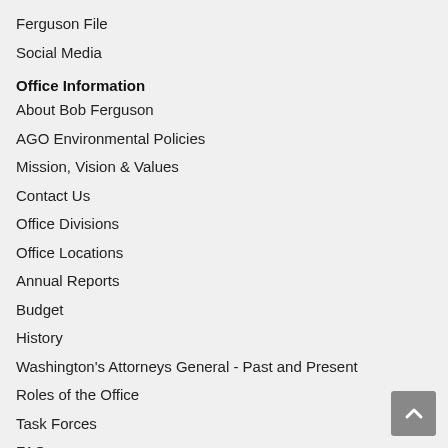Ferguson File
Social Media
Office Information
About Bob Ferguson
AGO Environmental Policies
Mission, Vision & Values
Contact Us
Office Divisions
Office Locations
Annual Reports
Budget
History
Washington's Attorneys General - Past and Present
Roles of the Office
Task Forces
FAQs
Procurements & Contracts
Technology
Privacy Notice